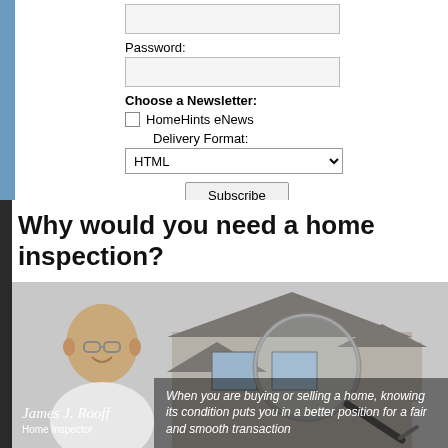Password:
Choose a Newsletter:
HomeHints eNews
Delivery Format:
HTML
Subscribe
Why would you need a home inspection?
[Figure (photo): Photo of a home inspector man (James J. Rooff, Home Inspector) beside an image of a house with a magnifying glass overlay. Overlay text reads: When you are buying or selling a home, knowing its condition puts you in a better position for a fair and smooth transaction]